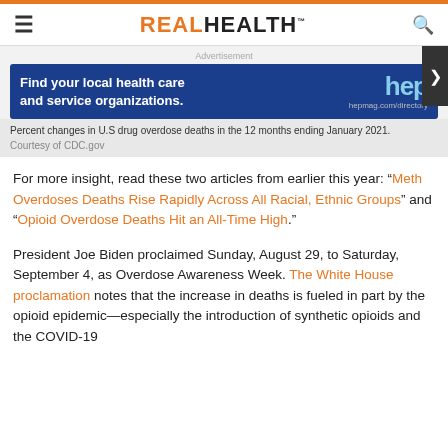REAL HEALTH
[Figure (other): Advertisement banner: Find your local health care and service organizations. hep hepmag.com/directory]
Percent changes in U.S drug overdose deaths in the 12 months ending January 2021.
Courtesy of CDC.gov
For more insight, read these two articles from earlier this year: “Meth Overdoses Deaths Rise Rapidly Across All Racial, Ethnic Groups” and “Opioid Overdose Deaths Hit an All-Time High.”
President Joe Biden proclaimed Sunday, August 29, to Saturday, September 4, as Overdose Awareness Week. The White House proclamation notes that the increase in deaths is fueled in part by the opioid epidemic—especially the introduction of synthetic opioids and the COVID-19